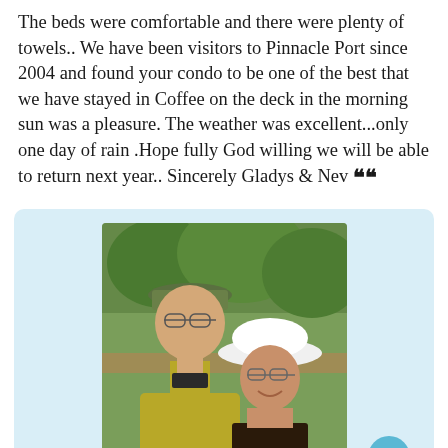The beds were comfortable and there were plenty of towels.. We have been visitors to Pinnacle Port since 2004 and found your condo to be one of the best that we have stayed in Coffee on the deck in the morning sun was a pleasure. The weather was excellent...only one day of rain .Hope fully God willing we will be able to return next year.. Sincerely Gladys & Nev ””
[Figure (photo): A couple smiling outdoors. The man on the left wears a green cap and yellow patterned shirt with glasses. The woman on the right wears a wide-brimmed white hat and glasses. Green trees visible in background.]
Peter and Charita Watkinson's reply:
Hello Gladys and Nev! Many thanks for such a wonderful review. Chatt and I are very pleased